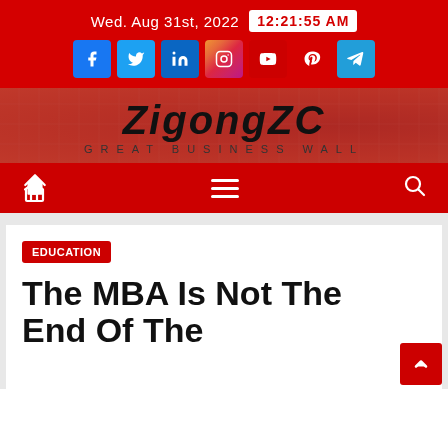Wed. Aug 31st, 2022  12:21:55 AM
[Figure (logo): ZigongZC Great Business Wall logo with social media icons (Facebook, Twitter, LinkedIn, Instagram, YouTube, Pinterest, Telegram)]
ZIGONGZC GREAT BUSINESS WALL
EDUCATION
The MBA Is Not The End Of The